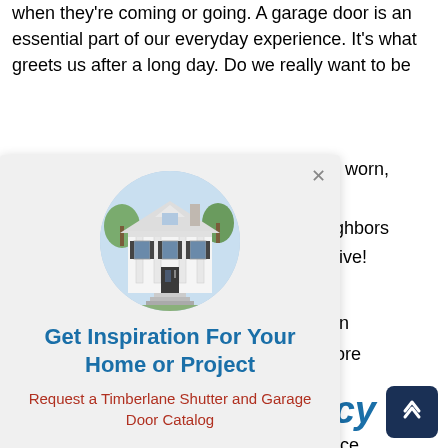when they're coming or going. A garage door is an essential part of our everyday experience. It's what greets us after a long day. Do we really want to be
nd worn,
eighbors e live!
[Figure (photo): Circular photo of a white colonial-style house with black shutters and columns]
Get Inspiration For Your Home or Project
Request a Timberlane Shutter and Garage Door Catalog
Learn More
can more d o pace
cy